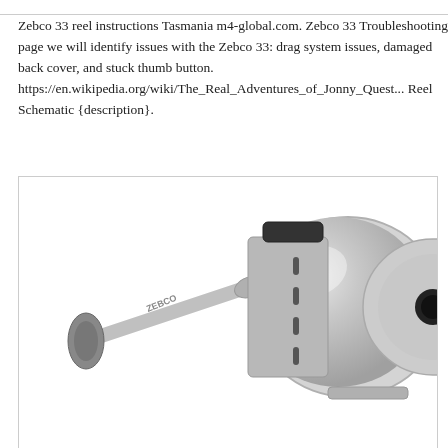Zebco 33 reel instructions Tasmania m4-global.com. Zebco 33 Troubleshooting page we will identify issues with the Zebco 33: drag system issues, damaged back cover, and stuck thumb button. https://en.wikipedia.org/wiki/The_Real_Adventures_of_Jonny_Quest... Reel Schematic {description}.
[Figure (photo): A Zebco 33 fishing reel, silver/chrome colored, showing the all-metal construction with the handle/crank arm visible on the left side and the round spool body on the right. The reel is shown at an angle against a white background.]